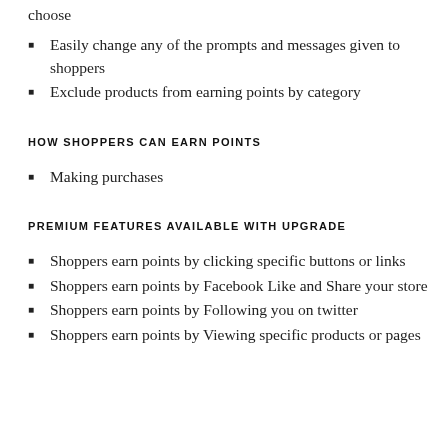choose
Easily change any of the prompts and messages given to shoppers
Exclude products from earning points by category
HOW SHOPPERS CAN EARN POINTS
Making purchases
PREMIUM FEATURES AVAILABLE WITH UPGRADE
Shoppers earn points by clicking specific buttons or links
Shoppers earn points by Facebook Like and Share your store
Shoppers earn points by Following you on twitter
Shoppers earn points by Viewing specific products or pages